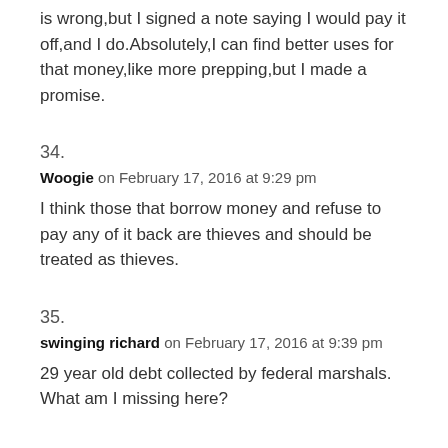is wrong,but I signed a note saying I would pay it off,and I do.Absolutely,I can find better uses for that money,like more prepping,but I made a promise.
34.
Woogie on February 17, 2016 at 9:29 pm
I think those that borrow money and refuse to pay any of it back are thieves and should be treated as thieves.
35.
swinging richard on February 17, 2016 at 9:39 pm
29 year old debt collected by federal marshals. What am I missing here?
36.